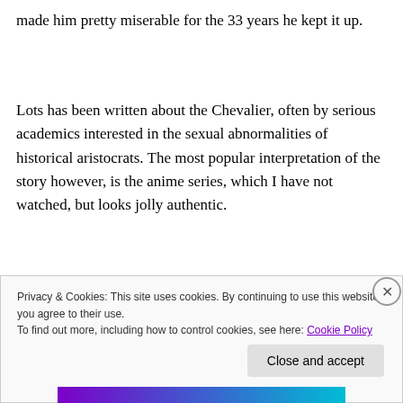made him pretty miserable for the 33 years he kept it up.
Lots has been written about the Chevalier, often by serious academics interested in the sexual abnormalities of historical aristocrats. The most popular interpretation of the story however, is the anime series, which I have not watched, but looks jolly authentic.
[Figure (photo): Dark banner image at top of embedded media content, partially obscured by cookie consent overlay.]
Privacy & Cookies: This site uses cookies. By continuing to use this website, you agree to their use.
To find out more, including how to control cookies, see here: Cookie Policy
Close and accept